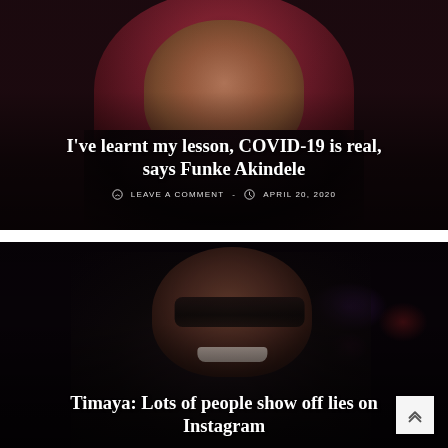[Figure (photo): Photo of Funke Akindele, a woman with dark red/maroon hair and dramatic makeup, wearing a dark outfit, with text overlay on the image]
I've learnt my lesson, COVID-19 is real, says Funke Akindele
LEAVE A COMMENT - APRIL 20, 2020
[Figure (photo): Photo of Timaya, a man wearing sunglasses, smiling, dark background, with partial text overlay]
Timaya: Lots of people show off lies on Instagram